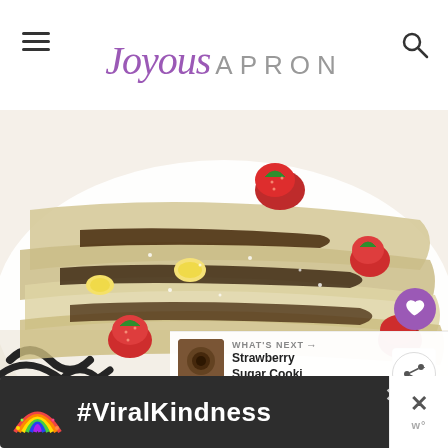Joyous APRON
[Figure (photo): Close-up photo of crepes on a white plate topped with sliced strawberries, banana slices, chocolate filling, and powdered sugar, on a black and white patterned tablecloth]
WHAT'S NEXT → Strawberry Sugar Cooki...
One thing is for sure: life is certainly more b...
[Figure (infographic): Advertisement banner with rainbow illustration and text #ViralKindness on dark background]